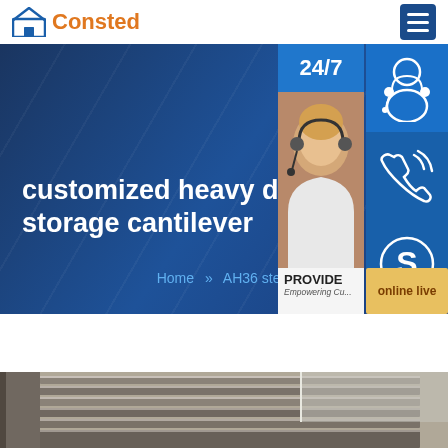[Figure (logo): Consted brand logo with house icon in blue and orange text]
[Figure (screenshot): Website hero banner with dark blue background showing text 'customized heavy duty storage cantilever' and breadcrumb 'Home >> AH36 steel', with customer service sidebar showing 24/7 label, agent photo, contact icons and online live button]
[Figure (photo): Bottom portion showing stacked steel plates/sheets product photo]